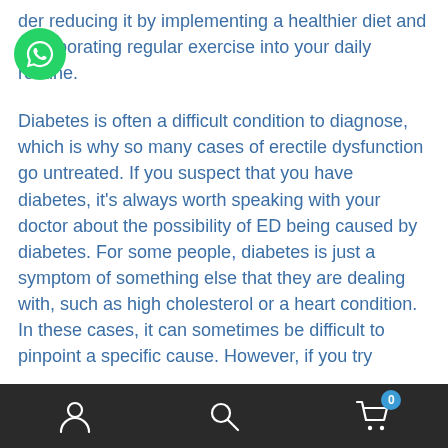der reducing it by implementing a healthier diet and incorporating regular exercise into your daily routine.
Diabetes is often a difficult condition to diagnose, which is why so many cases of erectile dysfunction go untreated. If you suspect that you have diabetes, it's always worth speaking with your doctor about the possibility of ED being caused by diabetes. For some people, diabetes is just a symptom of something else that they are dealing with, such as high cholesterol or a heart condition. In these cases, it can sometimes be difficult to pinpoint a specific cause. However, if you try